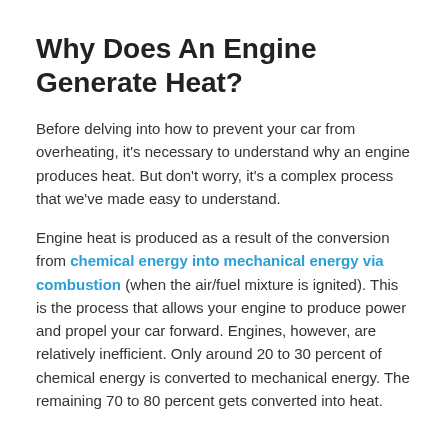Why Does An Engine Generate Heat?
Before delving into how to prevent your car from overheating, it’s necessary to understand why an engine produces heat. But don’t worry, it’s a complex process that we’ve made easy to understand.
Engine heat is produced as a result of the conversion from chemical energy into mechanical energy via combustion (when the air/fuel mixture is ignited). This is the process that allows your engine to produce power and propel your car forward. Engines, however, are relatively inefficient. Only around 20 to 30 percent of chemical energy is converted to mechanical energy. The remaining 70 to 80 percent gets converted into heat.